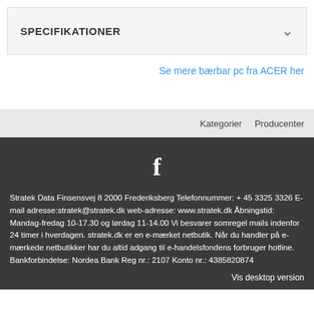SPECIFIKATIONER
Se mere bærbar pc fra ACER her
Kategorier   Producenter
[Figure (logo): Facebook logo icon (white 'f' on dark background)]
Stratek Data Finsensvej 8 2000 Frederiksberg Telefonnummer: + 45 3325 3326 E-mail adresse:stratek@stratek.dk web-adresse: www.stratek.dk Åbningstid: Mandag-fredag 10-17.30 og lørdag 11-14.00 Vi besvarer somregel mails indenfor 24 timer i hverdagen. stratek.dk er en e-mærket netbutik. Når du handler på e-mærkede netbutikker har du altid adgang til e-handelsfondens forbruger hotline. Bankforbindelse: Nordea Bank Reg nr.: 2107 Konto nr.: 4385820874
Vis desktop version